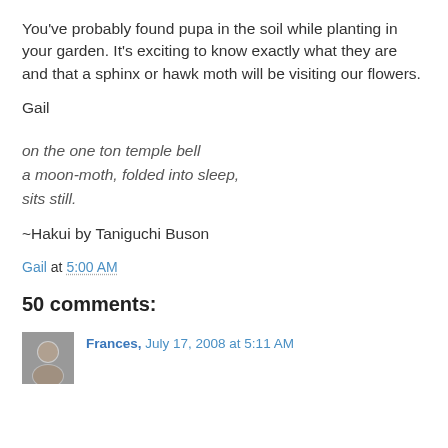You've probably found pupa in the soil while planting in your garden. It's exciting to know exactly what they are and that a sphinx or hawk moth will be visiting our flowers.
Gail
on the one ton temple bell
a moon-moth, folded into sleep,
sits still.
~Hakui by Taniguchi Buson
Gail at 5:00 AM
50 comments:
Frances, July 17, 2008 at 5:11 AM